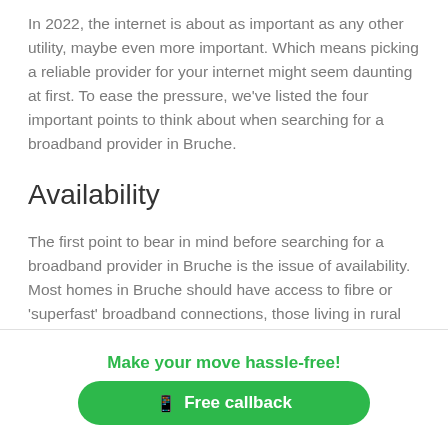In 2022, the internet is about as important as any other utility, maybe even more important. Which means picking a reliable provider for your internet might seem daunting at first. To ease the pressure, we've listed the four important points to think about when searching for a broadband provider in Bruche.
Availability
The first point to bear in mind before searching for a broadband provider in Bruche is the issue of availability. Most homes in Bruche should have access to fibre or 'superfast' broadband connections, those living in rural homes could face issues getting access to the fastest internet.
Make your move hassle-free!
Free callback